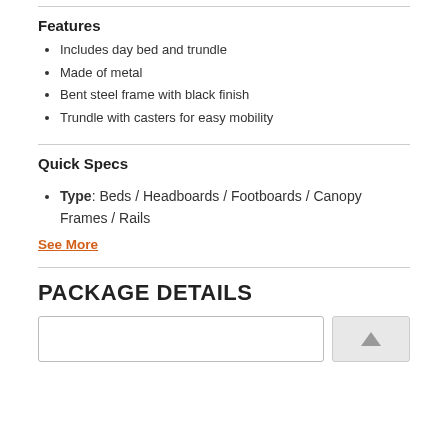Features
Includes day bed and trundle
Made of metal
Bent steel frame with black finish
Trundle with casters for easy mobility
Quick Specs
Type: Beds / Headboards / Footboards / Canopy Frames / Rails
See More
PACKAGE DETAILS